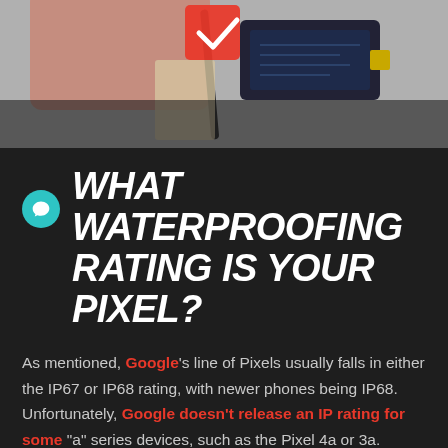[Figure (photo): Overhead photo of smartphone components including a battery, stylus pen, and device parts on a light gray background with a red chevron icon overlay]
WHAT WATERPROOFING RATING IS YOUR PIXEL?
As mentioned, Google's line of Pixels usually falls in either the IP67 or IP68 rating, with newer phones being IP68. Unfortunately, Google doesn't release an IP rating for some "a" series devices, such as the Pixel 4a or 3a.
SYDNEY CBD REPAIR CENTRE MENU